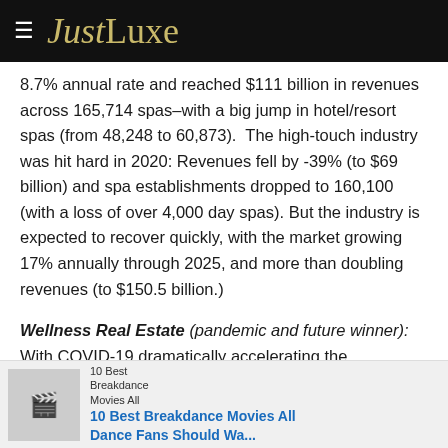JustLuxe
8.7% annual rate and reached $111 billion in revenues across 165,714 spas–with a big jump in hotel/resort spas (from 48,248 to 60,873). The high-touch industry was hit hard in 2020: Revenues fell by -39% (to $69 billion) and spa establishments dropped to 160,100 (with a loss of over 4,000 day spas). But the industry is expected to recover quickly, with the market growing 17% annually through 2025, and more than doubling revenues (to $150.5 billion.)
Wellness Real Estate (pandemic and future winner): With COVID-19 dramatically accelerating the understanding of the role that the b... our phys... l
10 Best Breakdance Movies All Dance Fans Should Wa...